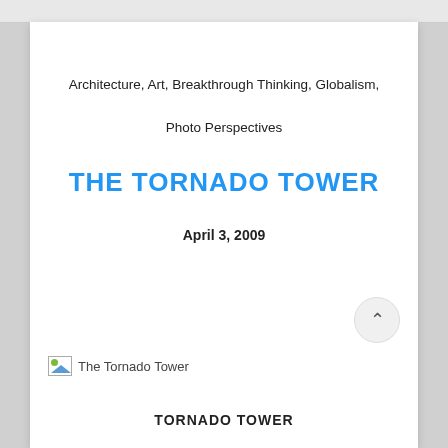Architecture, Art, Breakthrough Thinking, Globalism, Photo Perspectives
THE TORNADO TOWER
April 3, 2009
[Figure (photo): Broken image placeholder for The Tornado Tower]
The Tornado Tower
TORNADO TOWER